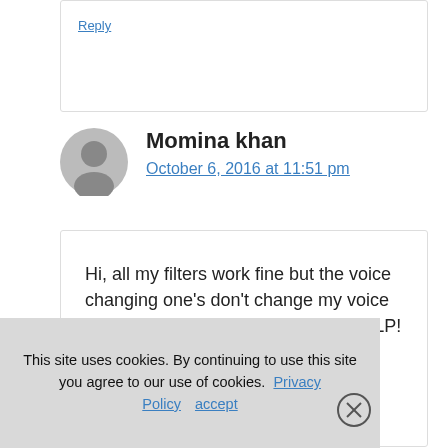Reply
Momina khan
October 6, 2016 at 11:51 pm
Hi, all my filters work fine but the voice changing one’s don’t change my voice in the video… What should i do? HELP! 😕
This site uses cookies. By continuing to use this site you agree to our use of cookies. Privacy Policy   accept